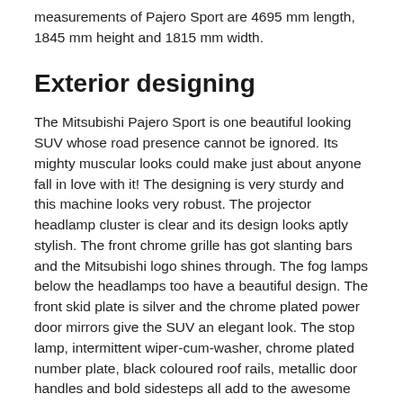measurements of Pajero Sport are 4695 mm length, 1845 mm height and 1815 mm width.
Exterior designing
The Mitsubishi Pajero Sport is one beautiful looking SUV whose road presence cannot be ignored. Its mighty muscular looks could make just about anyone fall in love with it! The designing is very sturdy and this machine looks very robust. The projector headlamp cluster is clear and its design looks aptly stylish. The front chrome grille has got slanting bars and the Mitsubishi logo shines through. The fog lamps below the headlamps too have a beautiful design. The front skid plate is silver and the chrome plated power door mirrors give the SUV an elegant look. The stop lamp, intermittent wiper-cum-washer, chrome plated number plate, black coloured roof rails, metallic door handles and bold sidesteps all add to the awesome look of the car. This SUV is available in some very attractive shades. They are blaze, fiery red, Himalayan white, storm grey, navy, carbon black, iceberg silver, pure black, earth brown, rugged red and graphite. Such beautiful colours make